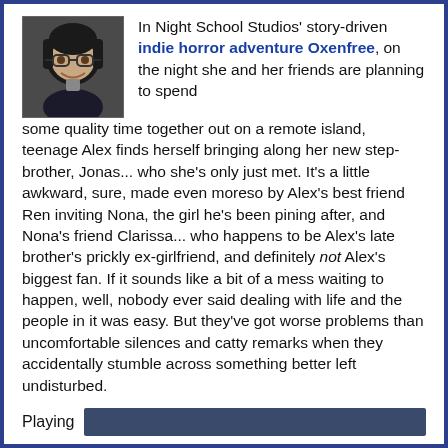[Figure (photo): Profile photo of a woman with glasses and dark hair, smiling, shown from shoulders up]
In Night School Studios' story-driven indie horror adventure Oxenfree, on the night she and her friends are planning to spend some quality time together out on a remote island, teenage Alex finds herself bringing along her new step-brother, Jonas... who she's only just met. It's a little awkward, sure, made even moreso by Alex's best friend Ren inviting Nona, the girl he's been pining after, and Nona's friend Clarissa... who happens to be Alex's late brother's prickly ex-girlfriend, and definitely not Alex's biggest fan. If it sounds like a bit of a mess waiting to happen, well, nobody ever said dealing with life and the people in it was easy. But they've got worse problems than uncomfortable silences and catty remarks when they accidentally stumble across something better left undisturbed.
Playing